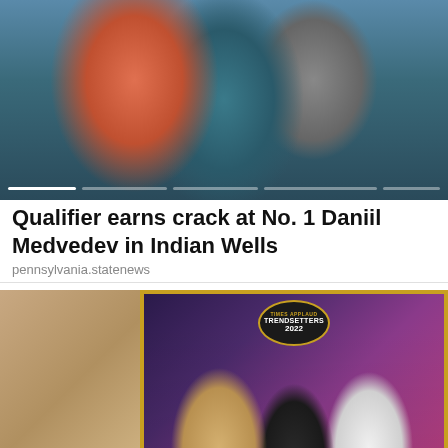[Figure (photo): Sports photo showing a tennis player in a red shirt bending forward, with a progress bar at the bottom indicating a slideshow]
Qualifier earns crack at No. 1 Daniil Medvedev in Indian Wells
pennsylvania.statenews
[Figure (photo): Award ceremony photo showing people receiving a Times Applaud Trendsetters 2022 award, captioned 'Honoured by Shri Bhagat Singh Koshyari']
Honoured by Shri Bhagat Singh Koshyari